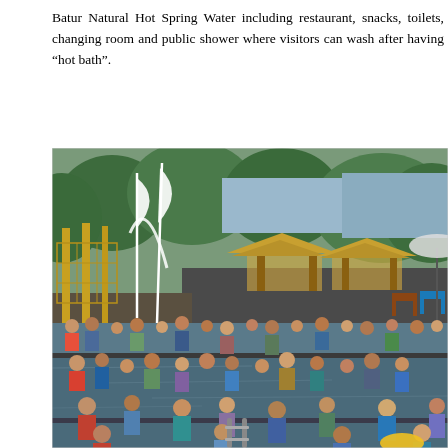Batur Natural Hot Spring Water including restaurant, snacks, toilets, changing room and public shower where visitors can wash after having “hot bath”.
[Figure (photo): Crowded outdoor hot spring pool area at Batur Natural Hot Spring Water, Bali. Many visitors bathing in large dark-tiled pools. Thatched-roof gazebos, bamboo structures with tall white ceremonial flags, and trees visible in the background. A water spout arcs over the pool area.]